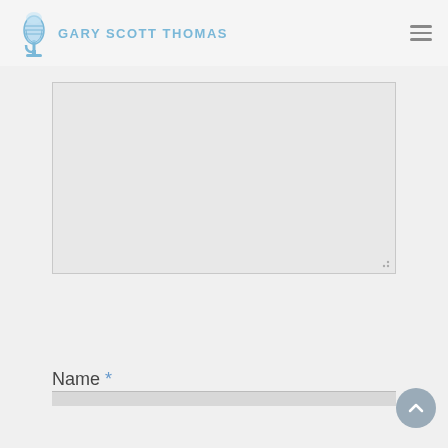GARY SCOTT THOMAS
[Figure (screenshot): Large empty textarea / text input field with light gray background and resize handle at bottom right]
Name *